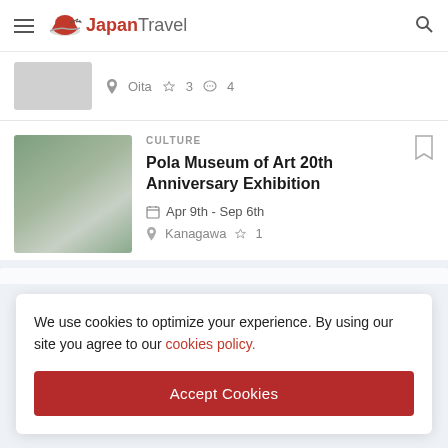Japan Travel
Oita ♥ 3 💬 4
CULTURE
Pola Museum of Art 20th Anniversary Exhibition
Apr 9th - Sep 6th
Kanagawa ♥ 1
We use cookies to optimize your experience. By using our site you agree to our cookies policy.
Accept Cookies